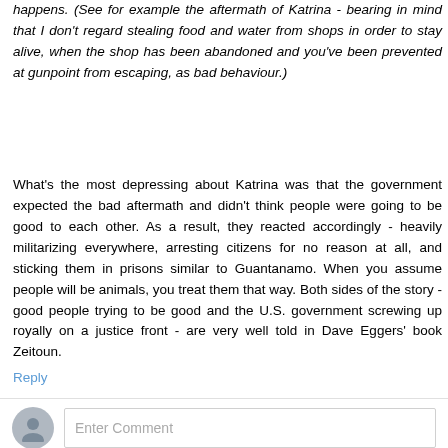happens. (See for example the aftermath of Katrina - bearing in mind that I don't regard stealing food and water from shops in order to stay alive, when the shop has been abandoned and you've been prevented at gunpoint from escaping, as bad behaviour.)
What's the most depressing about Katrina was that the government expected the bad aftermath and didn't think people were going to be good to each other. As a result, they reacted accordingly - heavily militarizing everywhere, arresting citizens for no reason at all, and sticking them in prisons similar to Guantanamo. When you assume people will be animals, you treat them that way. Both sides of the story - good people trying to be good and the U.S. government screwing up royally on a justice front - are very well told in Dave Eggers' book Zeitoun.
Reply
Enter Comment